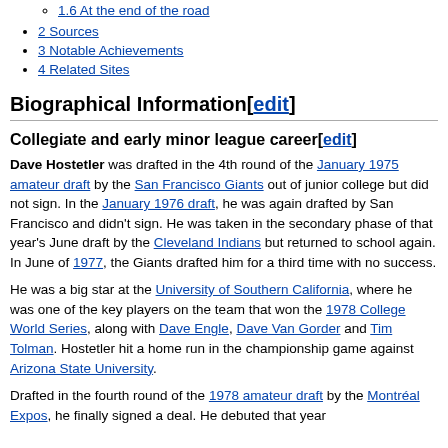1.6 At the end of the road
2 Sources
3 Notable Achievements
4 Related Sites
Biographical Information[edit]
Collegiate and early minor league career[edit]
Dave Hostetler was drafted in the 4th round of the January 1975 amateur draft by the San Francisco Giants out of junior college but did not sign. In the January 1976 draft, he was again drafted by San Francisco and didn't sign. He was taken in the secondary phase of that year's June draft by the Cleveland Indians but returned to school again. In June of 1977, the Giants drafted him for a third time with no success.
He was a big star at the University of Southern California, where he was one of the key players on the team that won the 1978 College World Series, along with Dave Engle, Dave Van Gorder and Tim Tolman. Hostetler hit a home run in the championship game against Arizona State University.
Drafted in the fourth round of the 1978 amateur draft by the Montréal Expos, he finally signed a deal. He debuted that year